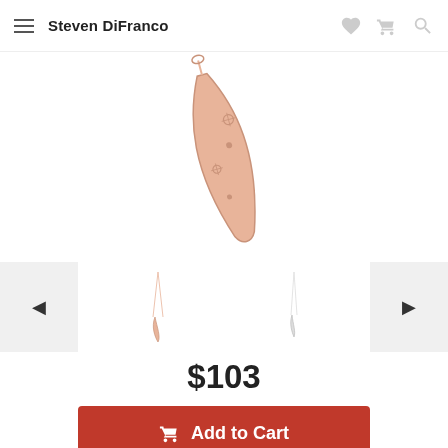Steven DiFranco
[Figure (photo): Rose gold horn/claw shaped pendant necklace with star accents, shown as product detail image]
[Figure (photo): Thumbnail strip with two small necklace images and left/right navigation arrows]
$103
Add to Cart
Add to Wish List
Contact   Share   Drop a Hint